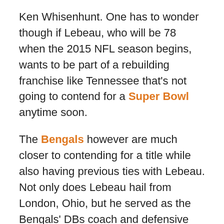Ken Whisenhunt. One has to wonder though if Lebeau, who will be 78 when the 2015 NFL season begins, wants to be part of a rebuilding franchise like Tennessee that's not going to contend for a Super Bowl anytime soon.
The Bengals however are much closer to contending for a title while also having previous ties with Lebeau. Not only does Lebeau hail from London, Ohio, but he served as the Bengals' DBs coach and defensive coordinator from 1980-1991. He came back to Cincinnati in 1997 to become defensive coordinator and assistant head coach before becoming the head coach from 2000 to 2002.
Needless to say, he probably still knows Cincinnati like the back of his hand, and would feel more comfortable